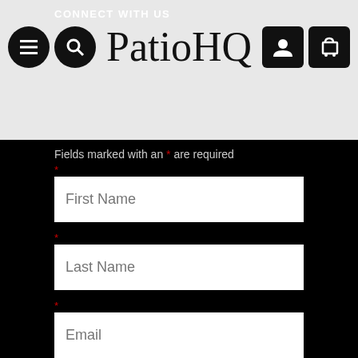CONNECT WITH US
PatioHQ
Fields marked with an * are required
* First Name
* Last Name
* Email
SUBMIT